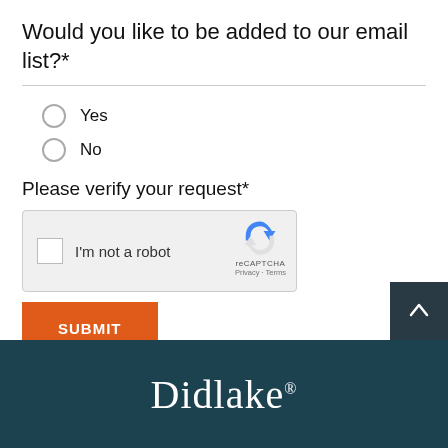Would you like to be added to our email list?*
Yes
No
Please verify your request*
[Figure (screenshot): reCAPTCHA widget with checkbox labeled 'I'm not a robot' and reCAPTCHA logo with Privacy and Terms links]
SUBMIT
Didlake®